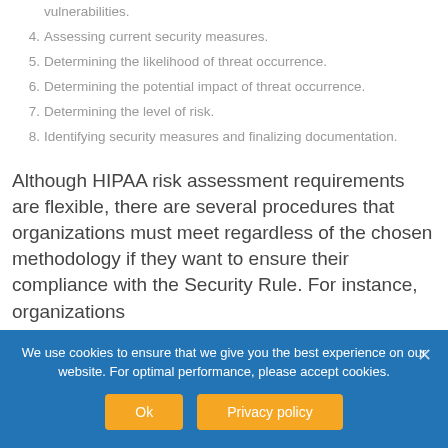vulnerabilities.
4. Assessing current security measures.
5. Determining the likelihood of threat occurrence.
6. Determining the potential impact of threat occurrence.
7. Determining the level of risk.
8. Identifying security measures and finalizing documentation.
Although HIPAA risk assessment requirements are flexible, there are several procedures that organizations must meet regardless of the chosen methodology if they want to ensure their compliance with the Security Rule. For instance, organizations
We use cookies to ensure that we give you the best experience on our website. For optimal performance, please accept cookies.